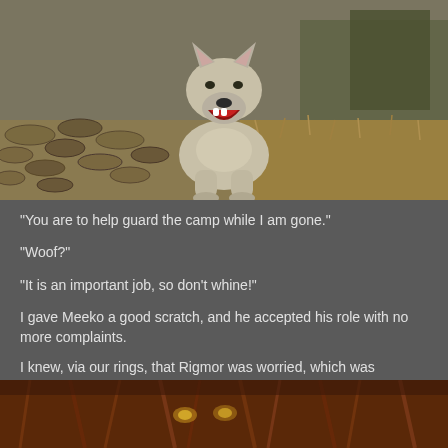[Figure (screenshot): 3D rendered wolf/dog sitting on stone cobblestone path with mouth open, howling or barking. The animal appears to be from a video game (Skyrim), grey-white colored, sitting upright on a stone paved ground with golden grass/vegetation in background.]
“You are to help guard the camp while I am gone.”
“Woof?”
“It is an important job, so don’t whine!”
I gave Meeko a good scratch, and he accepted his role with no more complaints.
I knew, via our rings, that Rigmor was worried, which was confirmed by the look on her face when I entered our tent.
[Figure (screenshot): Partial view of a dark, furry creature or character from what appears to be a video game, showing reddish-brown fur and possibly glowing eyes, in a tent or dark interior setting.]